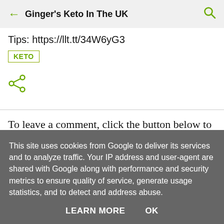Ginger's Keto In The UK
Tips: https://llt.tt/34W6yG3
KETO
[Figure (illustration): Share icon (green)]
To leave a comment, click the button below to sign in with Google.
[Figure (screenshot): Blue sign in with Google button (partially visible)]
This site uses cookies from Google to deliver its services and to analyze traffic. Your IP address and user-agent are shared with Google along with performance and security metrics to ensure quality of service, generate usage statistics, and to detect and address abuse.
LEARN MORE   OK